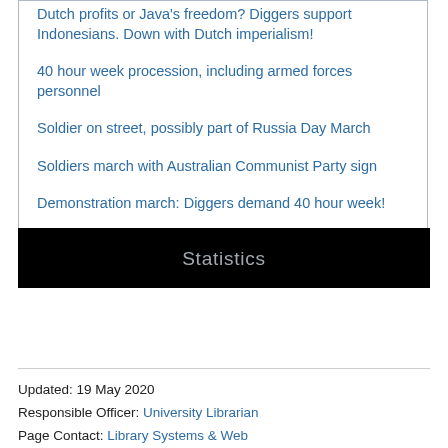Dutch profits or Java's freedom? Diggers support Indonesians. Down with Dutch imperialism!
40 hour week procession, including armed forces personnel
Soldier on street, possibly part of Russia Day March
Soldiers march with Australian Communist Party sign
Demonstration march: Diggers demand 40 hour week!
Statistics
Updated: 19 May 2020
Responsible Officer: University Librarian
Page Contact: Library Systems & Web